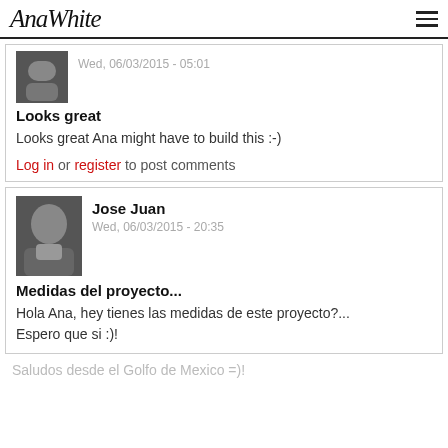AnaWhite
Wed, 06/03/2015 - 05:01
Looks great
Looks great Ana might have to build this :-)
Log in or register to post comments
Jose Juan
Wed, 06/03/2015 - 20:35
Medidas del proyecto...
Hola Ana, hey tienes las medidas de este proyecto?... Espero que si :)!
Saludos desde el Golfo de Mexico =)!